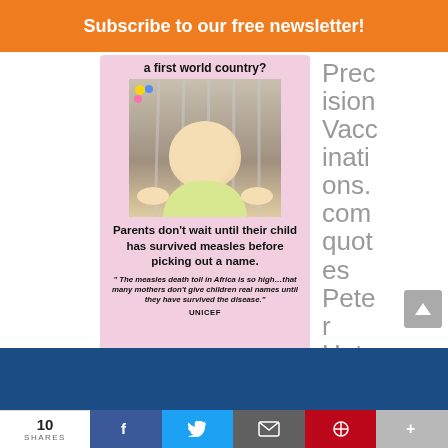Subscribe to our free newsletter!
a first world country?
[Figure (photo): Baby lying in a crib looking at the camera]
Parents don't wait until their child has survived measles before picking out a name.
" The measles death toll in Africa is so high...that many mothers don't give children real names until they have survived the disease."
UNICEF
Prec ision Vacc inati ons. com quot es Pete r Hote
10 SHARES